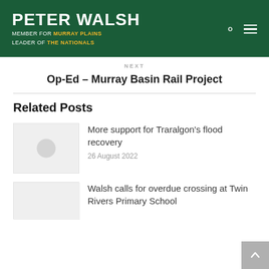PETER WALSH MEMBER FOR MURRAY PLAINS LEADER OF THE NATIONALS
NEXT
Op-Ed – Murray Basin Rail Project
Related Posts
[Figure (photo): Thumbnail placeholder image with grey circle]
More support for Traralgon's flood recovery
26 August 2022
[Figure (photo): Thumbnail placeholder image]
Walsh calls for overdue crossing at Twin Rivers Primary School